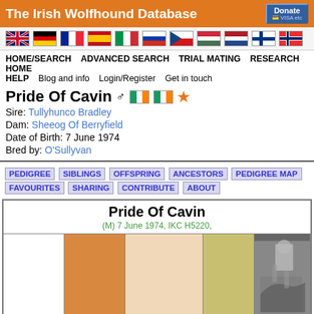The Irish Wolfhound Database
[Figure (illustration): Row of country flag icons: UK, Germany, France, Spain, Italy, Russia, Czech Republic, Hungary, Netherlands, Finland, Norway]
HOME/SEARCH   ADVANCED SEARCH   TRIAL MATING   RESEARCH HOME   HELP   Blog and info   Login/Register   Get in touch
Pride Of Cavin ♂ [IE flag] [IE flag] ★
Sire: Tullyhunco Bradley
Dam: Sheeog Of Berryfield
Date of Birth: 7 June 1974
Bred by: O'Sullyvan
PEDIGREE   SIBLINGS   OFFSPRING   ANCESTORS   PEDIGREE MAP   FAVOURITES   SHARING   CONTRIBUTE   ABOUT
Pride Of Cavin
(M) 7 June 1974, IKC H5220,
[Figure (other): Pedigree grid with colored columns and a black-and-white photo of an Irish Wolfhound with handler. Bottom right shows 'IE GR CH' label.]